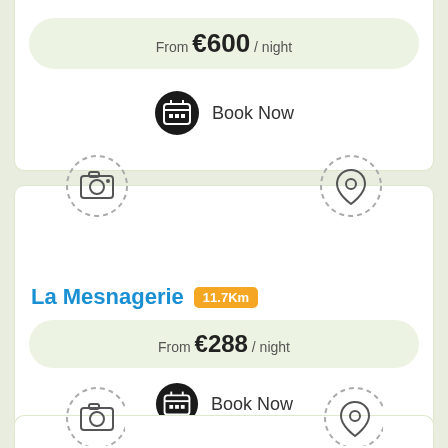From €600 / night
Book Now
[Figure (illustration): Camera icon in dashed circle (photo placeholder)]
[Figure (illustration): Location pin icon in dashed circle (map placeholder)]
La Mesnagerie 11.7Km
From €288 / night
Book Now
[Figure (illustration): Camera icon in dashed circle (partial, bottom card)]
[Figure (illustration): Location pin icon in dashed circle (partial, bottom card)]